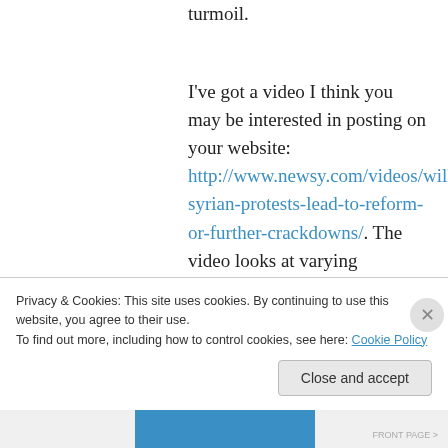turmoil.
I've got a video I think you may be interested in posting on your website: http://www.newsy.com/videos/will-syrian-protests-lead-to-reform-or-further-crackdowns/. The video looks at varying perspectives on the demonstrations in Syria and deals somewhat with what you talked about in your video.
I hope you can find some use for this video. Let me know if you have any questions.
Privacy & Cookies: This site uses cookies. By continuing to use this website, you agree to their use.
To find out more, including how to control cookies, see here: Cookie Policy
Close and accept